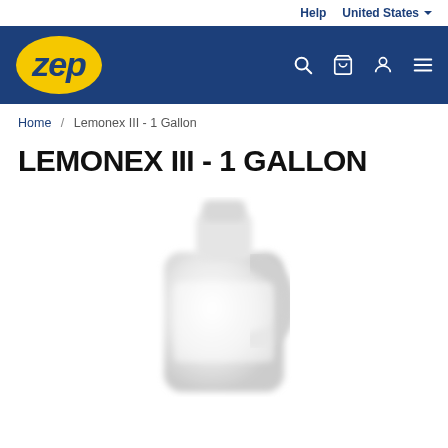Help  United States
[Figure (logo): Zep logo - yellow oval with blue Zep text, on blue navigation bar]
Home / Lemonex III - 1 Gallon
LEMONEX III - 1 GALLON
[Figure (photo): White 1-gallon plastic jug of Lemonex III cleaning product, blurred/soft focus product photo on white background]